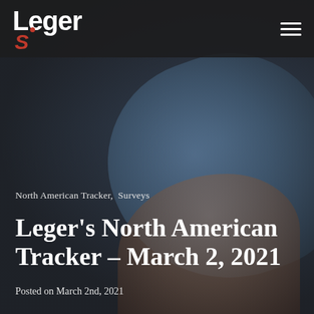[Figure (photo): Dark background with a medical/vaccination scene showing a gloved hand administering or holding something near a person's arm, with dark overlay]
Leger [logo with red S]
North American Tracker,  Surveys
Leger's North American Tracker – March 2, 2021
Posted on March 2nd, 2021